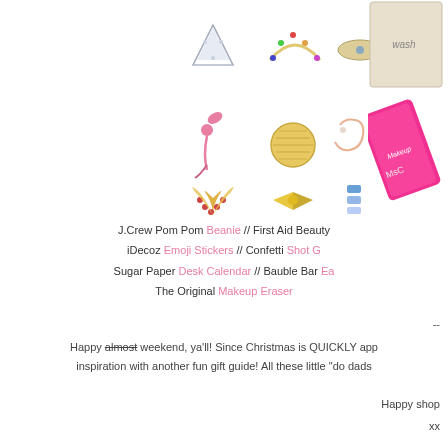[Figure (photo): Grid of jewelry earrings studs including arrow, rainbow, eye, flamingo, circle coin, letter Z shape, heart with red gems, gold bow tie, blue crystal pieces. Also shows a beige wash cloth with 'wash' text and a pink Makeup Eraser product.]
J.Crew Pom Pom Beanie // First Aid Beauty iDecoz Emoji Stickers // Confetti Shot G Sugar Paper Desk Calendar // Bauble Bar Ea The Original Makeup Eraser
--
Happy almost weekend, ya'll! Since Christmas is QUICKLY app inspiration with another fun gift guide! All these little "do dads
Happy shop
xx
Cat